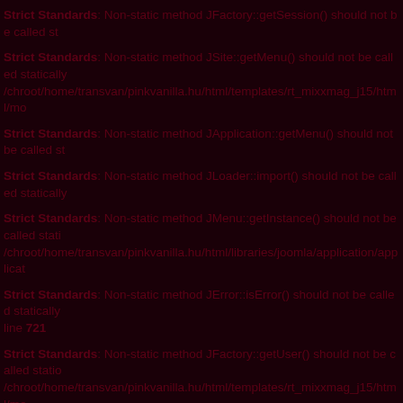Strict Standards: Non-static method JFactory::getSession() should not be called st
Strict Standards: Non-static method JSite::getMenu() should not be called statically /chroot/home/transvan/pinkvanilla.hu/html/templates/rt_mixxmag_j15/html/mo
Strict Standards: Non-static method JApplication::getMenu() should not be called st
Strict Standards: Non-static method JLoader::import() should not be called statically
Strict Standards: Non-static method JMenu::getInstance() should not be called stati /chroot/home/transvan/pinkvanilla.hu/html/libraries/joomla/application/applicat
Strict Standards: Non-static method JError::isError() should not be called statically line 721
Strict Standards: Non-static method JFactory::getUser() should not be called statio /chroot/home/transvan/pinkvanilla.hu/html/templates/rt_mixxmag_j15/html/mo
Strict Standards: Non-static method JLoader::import() should not be called statically
Strict Standards: Non-static method JFactory::getSession() should not be called st
Strict Standards: Non-static method JSite::getMenu() should not be called statically /chroot/home/transvan/pinkvanilla.hu/html/templates/rt_mixxmag_j15/html/mo
Strict Standards: Non-static method JApplication::getMenu() should not be called st